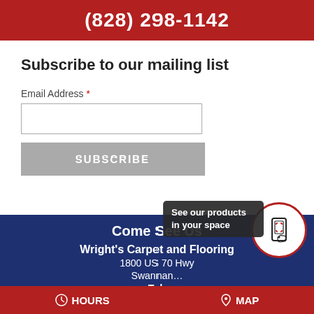(828) 298-1142
Subscribe to our mailing list
Email Address *
SUBSCRIBE
Come See Us
Wright's Carpet and Flooring
1800 US 70 Hwy
Swannanoa
Tel:
HOURS
MAP
See our products in your space